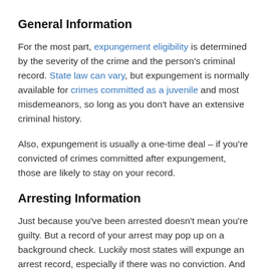General Information
For the most part, expungement eligibility is determined by the severity of the crime and the person's criminal record. State law can vary, but expungement is normally available for crimes committed as a juvenile and most misdemeanors, so long as you don't have an extensive criminal history.
Also, expungement is usually a one-time deal – if you're convicted of crimes committed after expungement, those are likely to stay on your record.
Arresting Information
Just because you've been arrested doesn't mean you're guilty. But a record of your arrest may pop up on a background check. Luckily most states will expunge an arrest record, especially if there was no conviction. And